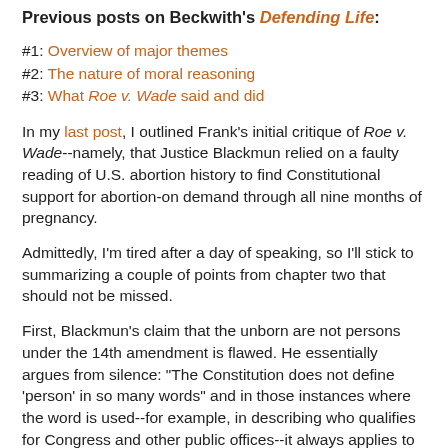Previous posts on Beckwith's Defending Life:
#1: Overview of major themes
#2: The nature of moral reasoning
#3: What Roe v. Wade said and did
In my last post, I outlined Frank's initial critique of Roe v. Wade--namely, that Justice Blackmun relied on a faulty reading of U.S. abortion history to find Constitutional support for abortion-on demand through all nine months of pregnancy.
Admittedly, I'm tired after a day of speaking, so I'll stick to summarizing a couple of points from chapter two that should not be missed.
First, Blackmun's claim that the unborn are not persons under the 14th amendment is flawed. He essentially argues from silence: "The Constitution does not define 'person' in so many words" and in those instances where the word is used--for example, in describing who qualifies for Congress and other public offices--it always applies to born people, not the